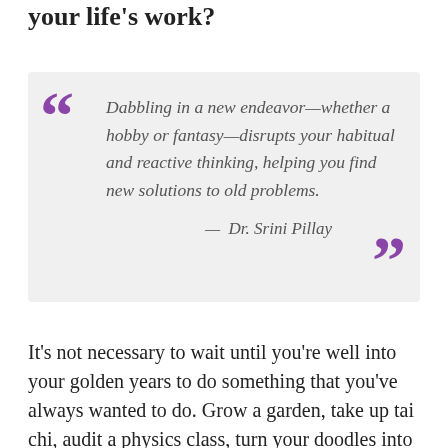your life's work?
Dabbling in a new endeavor—whether a hobby or fantasy—disrupts your habitual and reactive thinking, helping you find new solutions to old problems.
— Dr. Srini Pillay
It's not necessary to wait until you're well into your golden years to do something that you've always wanted to do. Grow a garden, take up tai chi, audit a physics class, turn your doodles into paintings, develop an idea for your dream business,